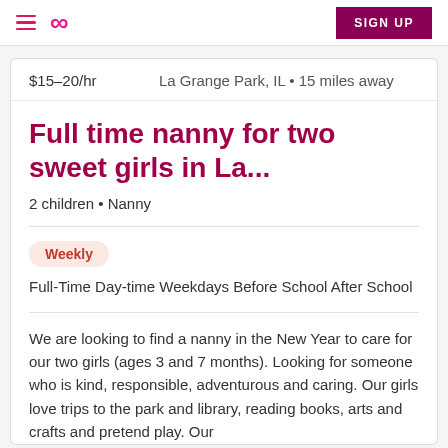Care.com navigation bar with hamburger menu, logo, and SIGN UP button
$15–20/hr    La Grange Park, IL • 15 miles away
Full time nanny for two sweet girls in La...
2 children • Nanny
Weekly
Full-Time Day-time Weekdays Before School After School
We are looking to find a nanny in the New Year to care for our two girls (ages 3 and 7 months). Looking for someone who is kind, responsible, adventurous and caring. Our girls love trips to the park and library, reading books, arts and crafts and pretend play. Our